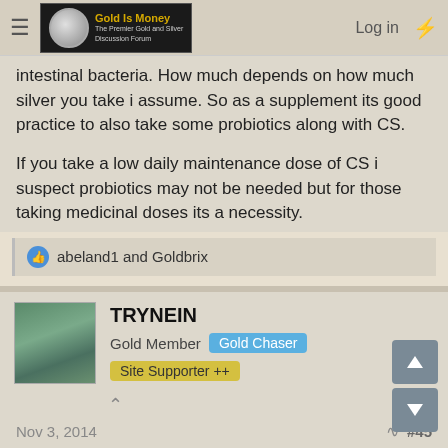Gold Is Money — The Premier Gold and Silver Discussion Forum
intestinal bacteria. How much depends on how much silver you take i assume. So as a supplement its good practice to also take some probiotics along with CS.
If you take a low daily maintenance dose of CS i suspect probiotics may not be needed but for those taking medicinal doses its a necessity.
👍 abeland1 and Goldbrix
TRYNEIN
Gold Member  Gold Chaser  Site Supporter ++
Nov 3, 2014   #45
Can anyone tell us the difference between the process of making Colloidal Silver vs Nano Silver?
Lower voltage?